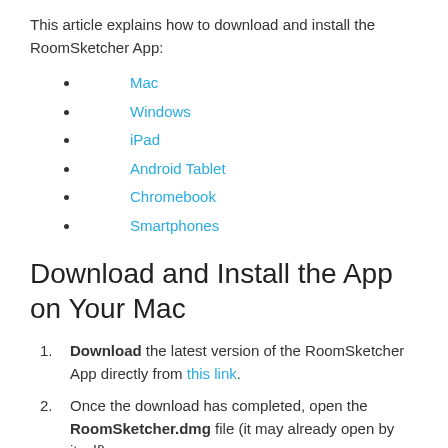This article explains how to download and install the RoomSketcher App:
Mac
Windows
iPad
Android Tablet
Chromebook
Smartphones
Download and Install the App on Your Mac
Download the latest version of the RoomSketcher App directly from this link.
Once the download has completed, open the RoomSketcher.dmg file (it may already open by itself).
A Finder window opens, containing the RoomSketcher application.
Drag the RoomSketcher icon on top of the Applications